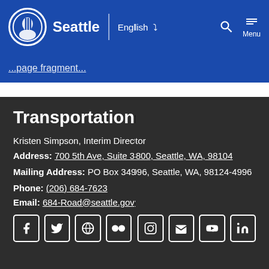[Figure (logo): City of Seattle logo with circular emblem and 'Seattle' text in white on blue navigation bar]
Seattle | English ∨ [Search] [Menu]
Transportation
Kristen Simpson, Interim Director
Address: 700 5th Ave, Suite 3800, Seattle, WA, 98104
Mailing Address: PO Box 34996, Seattle, WA, 98124-4996
Phone: (206) 684-7623
Email: 684-Road@seattle.gov
[Figure (infographic): Social media icons row: Facebook, Twitter, WordPress, Flickr, Instagram, Email, YouTube, LinkedIn]